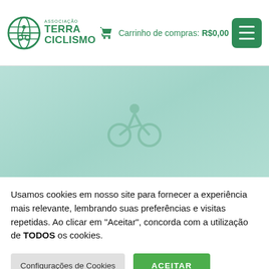[Figure (logo): Associação Terra Ciclismo green globe/bicycle logo with text TERRA CICLISMO]
Carrinho de compras: R$0,00
[Figure (screenshot): Green gradient hero banner area with faint bicycle/cycling icon watermark]
Usamos cookies em nosso site para fornecer a experiência mais relevante, lembrando suas preferências e visitas repetidas. Ao clicar em "Aceitar", concorda com a utilização de TODOS os cookies.
Configurações de Cookies
ACEITAR